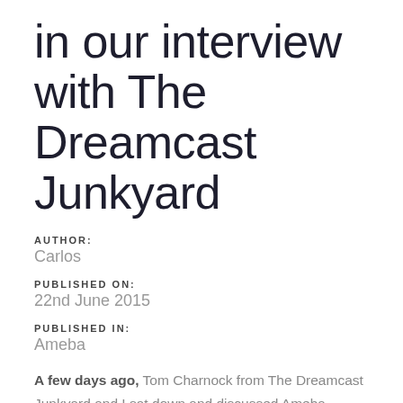in our interview with The Dreamcast Junkyard
AUTHOR:
Carlos
PUBLISHED ON:
22nd June 2015
PUBLISHED IN:
Ameba
A few days ago, Tom Charnock from The Dreamcast Junkyard and I sat down and discussed Ameba, Xenocider and the DC scene as a whole. Wait, Xeno what? Exactly,